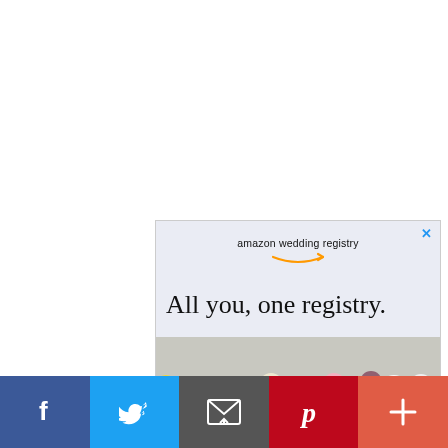[Figure (infographic): Amazon Wedding Registry advertisement banner. Light blue-grey background. Text reads 'amazon wedding registry' with Amazon smile arrow logo, and large tagline 'All you, one registry.' Bottom portion shows colorful flowers. Top right has a cyan X close button.]
[Figure (infographic): Social sharing bar at the bottom with five buttons: Facebook (dark blue, f icon), Twitter (light blue, bird icon), Email (dark grey, envelope icon), Pinterest (red, P icon), More (orange-red, plus icon).]